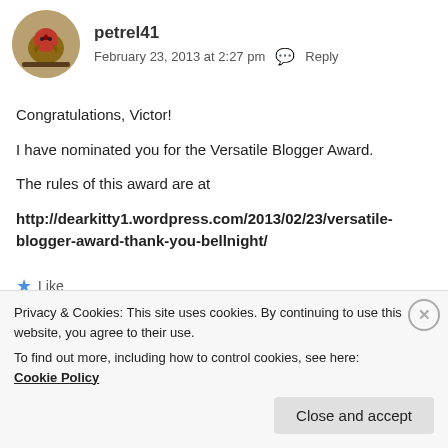[Figure (photo): Round avatar photo of a bird (appears to be a cardinal or similar red-crested bird) on a branch]
petrel41
February 23, 2013 at 2:27 pm  Reply
Congratulations, Victor!
I have nominated you for the Versatile Blogger Award.
The rules of this award are at
http://dearkitty1.wordpress.com/2013/02/23/versatile-blogger-award-thank-you-bellnight/
★ Like
Privacy & Cookies: This site uses cookies. By continuing to use this website, you agree to their use.
To find out more, including how to control cookies, see here: Cookie Policy
Close and accept